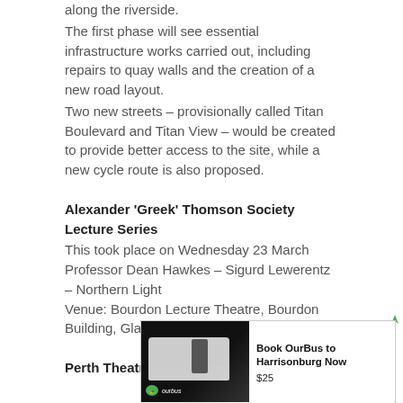along the riverside.
The first phase will see essential infrastructure works carried out, including repairs to quay walls and the creation of a new road layout.
Two new streets – provisionally called Titan Boulevard and Titan View – would be created to provide better access to the site, while a new cycle route is also proposed.
Alexander 'Greek' Thomson Society Lecture Series
This took place on Wednesday 23 March
Professor Dean Hawkes – Sigurd Lewerentz – Northern Light
Venue: Bourdon Lecture Theatre, Bourdon Building, Glasgow School of Art
Perth Theatre Building Restoration
[Figure (other): Advertisement for OurBus to Harrisonburg. Shows a bus image on the left with the OurBus logo/brand, text 'Book OurBus to Harrisonburg Now', price '$25', and 'Premium Buses Affordable Price' at the bottom with OurBus logo.]